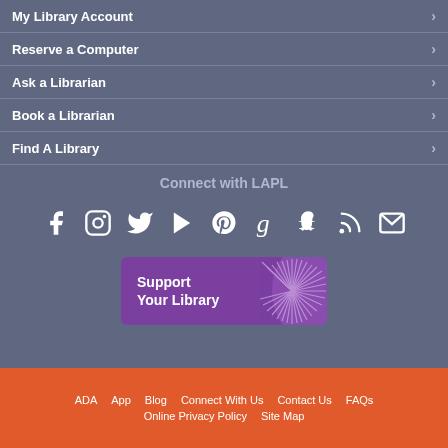My Library Account
Reserve a Computer
Ask a Librarian
Book a Librarian
Find A Library
Connect with LAPL
[Figure (infographic): Social media icons: Facebook, Instagram, Twitter, YouTube, Pinterest, Goodreads, Snapchat, RSS, Email]
[Figure (infographic): Support Your Library purple button with decorative graphic]
ADA   App   Blog   Connect With Us   Contact Us   FAQs   Online Privacy Policy   Site Map